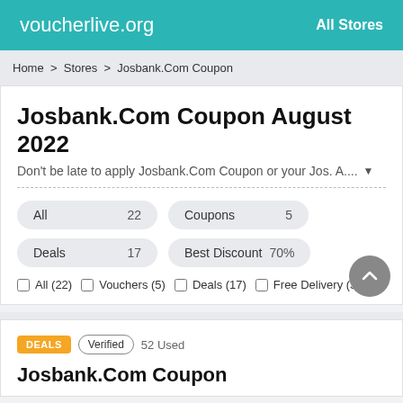voucherlive.org  All Stores
Home > Stores > Josbank.Com Coupon
Josbank.Com Coupon August 2022
Don't be late to apply Josbank.Com Coupon or your Jos. A....
All 22  Coupons 5  Deals 17  Best Discount 70%
All (22)  Vouchers (5)  Deals (17)  Free Delivery (3)
DEALS  Verified  52 Used
Josbank.Com Coupon